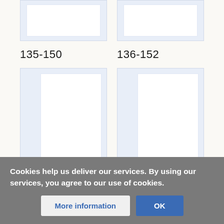[Figure (screenshot): Thumbnail image placeholder 135-150, light blue background with white inner box, partially visible at top]
[Figure (screenshot): Thumbnail image placeholder 136-152, light blue background with white inner box, partially visible at top]
135-150
136-152
[Figure (screenshot): Thumbnail image placeholder 137-154, light blue background with white inner box]
[Figure (screenshot): Thumbnail image placeholder 138-155, light blue background with white inner box]
137-154
138-155
Cookies help us deliver our services. By using our services, you agree to our use of cookies.
More information
OK